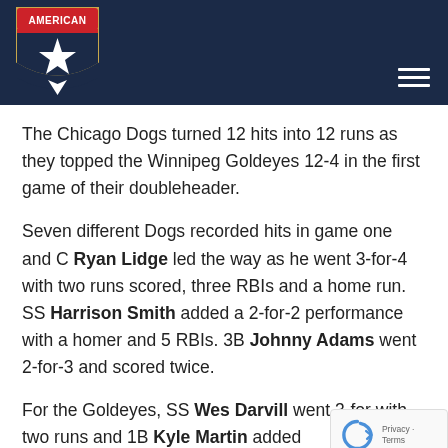American Association logo and navigation header
The Chicago Dogs turned 12 hits into 12 runs as they topped the Winnipeg Goldeyes 12-4 in the first game of their doubleheader.
Seven different Dogs recorded hits in game one and C Ryan Lidge led the way as he went 3-for-4 with two runs scored, three RBIs and a home run. SS Harrison Smith added a 2-for-2 performance with a homer and 5 RBIs. 3B Johnny Adams went 2-for-3 and scored twice.
For the Goldeyes, SS Wes Darvill went 3-for- with two runs and 1B Kyle Martin added